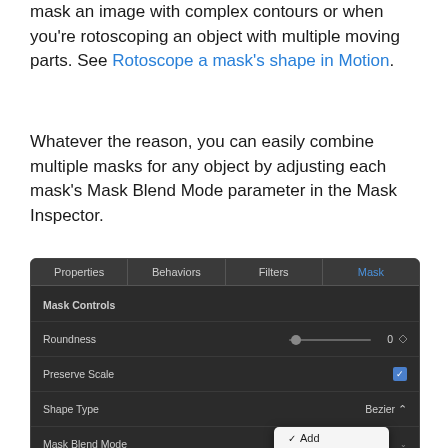mask an image with complex contours or when you're rotoscoping an object with multiple moving parts. See Rotoscope a mask's shape in Motion.
Whatever the reason, you can easily combine multiple masks for any object by adjusting each mask's Mask Blend Mode parameter in the Mask Inspector.
[Figure (screenshot): A dark-themed inspector panel showing Properties, Behaviors, Filters, and Mask tabs. The Mask tab is selected. Rows shown: Mask Controls (group header), Roundness (slider at 0), Preserve Scale (blue checkbox checked), Shape Type (Bezier dropdown), Mask Blend Mode (with popup menu open showing Add (checked), Subtract, Replace, Intersect (highlighted in blue)). Also Invert Mask, Feather (slider), and Falloff (slider) rows partially visible.]